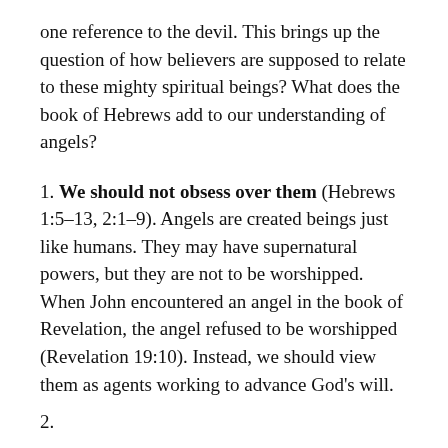one reference to the devil. This brings up the question of how believers are supposed to relate to these mighty spiritual beings? What does the book of Hebrews add to our understanding of angels?
1. We should not obsess over them (Hebrews 1:5–13, 2:1–9). Angels are created beings just like humans. They may have supernatural powers, but they are not to be worshipped. When John encountered an angel in the book of Revelation, the angel refused to be worshipped (Revelation 19:10). Instead, we should view them as agents working to advance God’s will.
2. ...